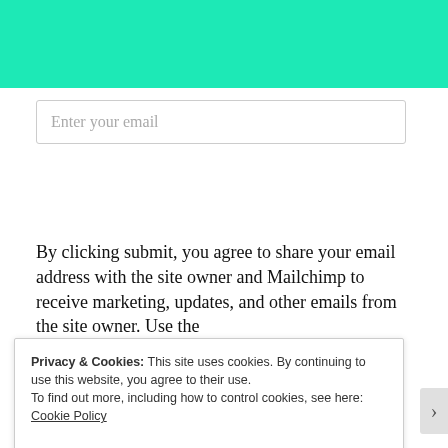[Figure (other): Teal/turquoise colored banner at the top of the page]
Enter your email
JOIN MY EMAIL LIST
By clicking submit, you agree to share your email address with the site owner and Mailchimp to receive marketing, updates, and other emails from the site owner. Use the
Privacy & Cookies: This site uses cookies. By continuing to use this website, you agree to their use.
To find out more, including how to control cookies, see here:
Cookie Policy
Close and accept